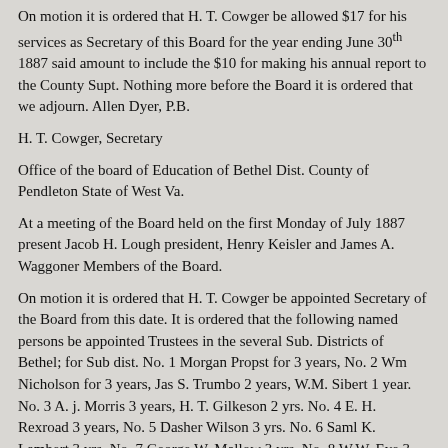On motion it is ordered that H. T. Cowger be allowed $17 for his services as Secretary of this Board for the year ending June 30th 1887 said amount to include the $10 for making his annual report to the County Supt. Nothing more before the Board it is ordered that we adjourn. Allen Dyer, P.B.
H. T. Cowger, Secretary
Office of the board of Education of Bethel Dist. County of Pendleton State of West Va.
At a meeting of the Board held on the first Monday of July 1887 present Jacob H. Lough president, Henry Keisler and James A. Waggoner Members of the Board.
On motion it is ordered that H. T. Cowger be appointed Secretary of the Board from this date. It is ordered that the following named persons be appointed Trustees in the several Sub. Districts of Bethel; for Sub dist. No. 1 Morgan Propst for 3 years, No. 2 Wm Nicholson for 3 years, Jas S. Trumbo 2 years, W.M. Sibert 1 year. No. 3 A. j. Morris 3 years, H. T. Gilkeson 2 yrs. No. 4 E. H. Rexroad 3 years, No. 5 Dasher Wilson 3 yrs. No. 6 Saml K. Lambert 3 yrs. No. 7 George W. Mallow 3 yrs. No. 8 W.W. Eye 3 yrs. A. H. Lough 2 yrs.
It is ordered that the schools in the dist. Be taught 4 months the